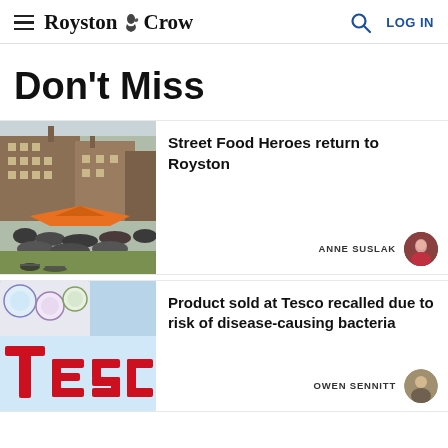Royston Crow | LOG IN
Don't Miss
[Figure (photo): Outdoor street food event with crowd of people, orange tent, and brick buildings in background]
Street Food Heroes return to Royston
ANNE SUSLAK
[Figure (photo): Tesco store sign in red letters with food product packaging (recalled item) inset in top left]
Product sold at Tesco recalled due to risk of disease-causing bacteria
OWEN SENNITT